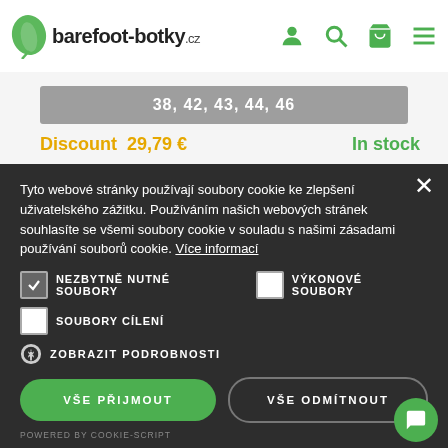[Figure (screenshot): barefoot-botky.cz website header with logo (green leaf and bold text) and navigation icons (user, search, cart, menu) in green]
38, 42, 43, 44, 46
Discount  29,79 €        In stock
Tyto webové stránky používají soubory cookie ke zlepšení uživatelského zážitku. Používáním našich webových stránek souhlasíte se všemi soubory cookie v souladu s našimi zásadami používání souborů cookie. Více informací
NEZBYTNĚ NUTNÉ SOUBORY (checked)
VÝKONOVÉ SOUBORY (unchecked)
SOUBORY CÍLENÍ (unchecked)
ZOBRAZIT PODROBNOSTI
VŠE PŘIJMOUT
VŠE ODMÍTNOUT
POWERED BY COOKIE-SCRIPT